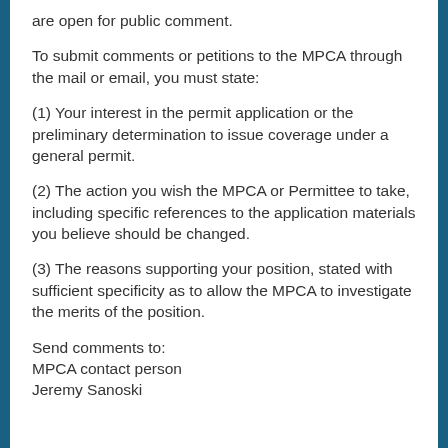are open for public comment.
To submit comments or petitions to the MPCA through the mail or email, you must state:
(1) Your interest in the permit application or the preliminary determination to issue coverage under a general permit.
(2) The action you wish the MPCA or Permittee to take, including specific references to the application materials you believe should be changed.
(3) The reasons supporting your position, stated with sufficient specificity as to allow the MPCA to investigate the merits of the position.
Send comments to:
MPCA contact person
Jeremy Sanoski